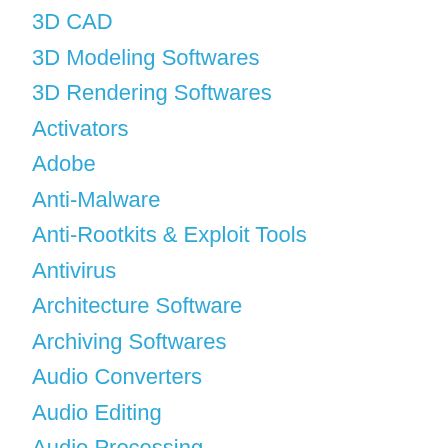3D CAD
3D Modeling Softwares
3D Rendering Softwares
Activators
Adobe
Anti-Malware
Anti-Rootkits & Exploit Tools
Antivirus
Architecture Software
Archiving Softwares
Audio Converters
Audio Editing
Audio Processing
Audio Production & Recording Software